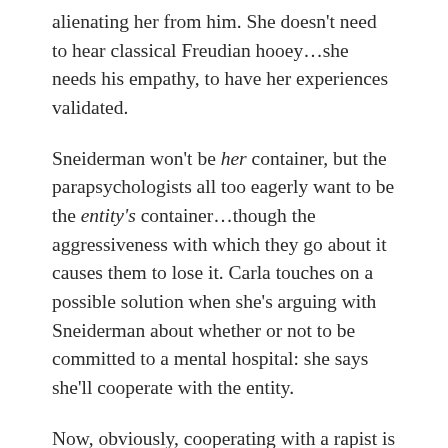alienating her from him. She doesn't need to hear classical Freudian hooey…she needs his empathy, to have her experiences validated.
Sneiderman won't be her container, but the parapsychologists all too eagerly want to be the entity's container…though the aggressiveness with which they go about it causes them to lose it. Carla touches on a possible solution when she's arguing with Sneiderman about whether or not to be committed to a mental hospital: she says she'll cooperate with the entity.
Now, obviously, cooperating with a rapist is never defensible; but if we see the rapes as symbolic of the container/contained relationship between inner and outer reality, between subject and object, self and other,